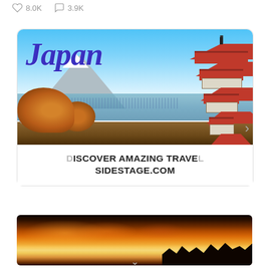8.0K   3.9K
[Figure (photo): Japan travel advertisement image showing Mount Fuji with snow cap, lake, autumn foliage trees, and a red pagoda temple on the right side, with large italic blue text 'Japan' overlaid at top, navigation arrows on sides]
DISCOVER AMAZING TRAVEL SIDESTAGE.COM
[Figure (photo): Sunset landscape photo showing dramatic orange and golden sky with clouds and dark silhouetted trees/vegetation on the right side]